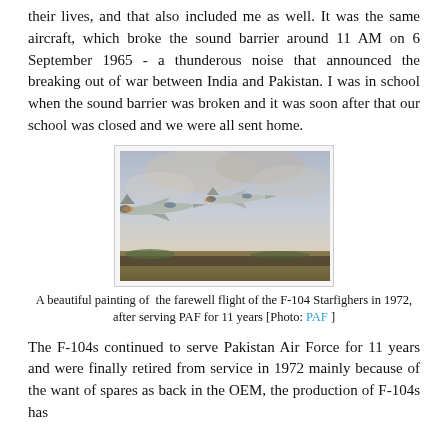their lives, and that also included me as well. It was the same aircraft, which broke the sound barrier around 11 AM on 6 September 1965 - a thunderous noise that announced the breaking out of war between India and Pakistan. I was in school when the sound barrier was broken and it was soon after that our school was closed and we were all sent home.
[Figure (illustration): A painting of two F-104 Starfighter jets flying low, depicted in a painterly style with a cloudy sky and landscape background.]
A beautiful painting of the farewell flight of the F-104 Starfighers in 1972, after serving PAF for 11 years [Photo: PAF ]
The F-104s continued to serve Pakistan Air Force for 11 years and were finally retired from service in 1972 mainly because of the want of spares as back in the OEM, the production of F-104s has